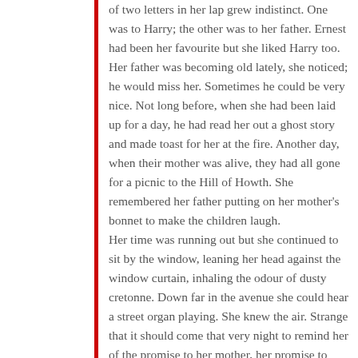of two letters in her lap grew indistinct. One was to Harry; the other was to her father. Ernest had been her favourite but she liked Harry too. Her father was becoming old lately, she noticed; he would miss her. Sometimes he could be very nice. Not long before, when she had been laid up for a day, he had read her out a ghost story and made toast for her at the fire. Another day, when their mother was alive, they had all gone for a picnic to the Hill of Howth. She remembered her father putting on her mother's bonnet to make the children laugh.
Her time was running out but she continued to sit by the window, leaning her head against the window curtain, inhaling the odour of dusty cretonne. Down far in the avenue she could hear a street organ playing. She knew the air. Strange that it should come that very night to remind her of the promise to her mother, her promise to keep the home together as long as she could